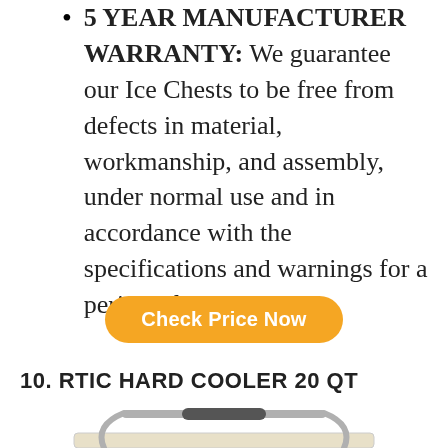5 YEAR MANUFACTURER WARRANTY: We guarantee our Ice Chests to be free from defects in material, workmanship, and assembly, under normal use and in accordance with the specifications and warnings for a period of 5 years.
Check Price Now
10. RTIC HARD COOLER 20 QT
[Figure (photo): Bottom portion of an RTIC Hard Cooler 20 QT showing the handle and top of the cooler body in a light beige/cream color with silver/gray metal bail handle and dark gray rubber grip.]